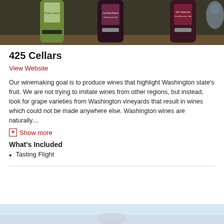[Figure (photo): Three wine bottles with labels visible — green, dark purple, and dark red — standing on a wooden surface against a dark background]
425 Cellars
View Website
Our winemaking goal is to produce wines that highlight Washington state's fruit. We are not trying to imitate wines from other regions, but instead, look for grape varieties from Washington vineyards that result in wines which could not be made anywhere else. Washington wines are naturally…
⊞ Show more
What's Included
Tasting Flight
[Figure (photo): Partial bottom image showing a landscape with sky and water or snowy terrain]